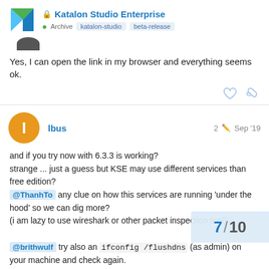Katalon Studio Enterprise — Archive, katalon-studio, beta-release
Yes, I can open the link in my browser and everything seems ok.
lbus — 2 edits — Sep '19
and if you try now with 6.3.3 is working?
strange ... just a guess but KSE may use different services than free edition?
@ThanhTo any clue on how this services are running 'under the hood' so we can dig more?
(i am lazy to use wireshark or other packet inspection tool)

@brithwulf try also an ifconfig /flushdns (as admin) on your machine and check again.
i tried to filter the ip resolved for you by trac
any recorded for katalon but no match. co
7 / 10